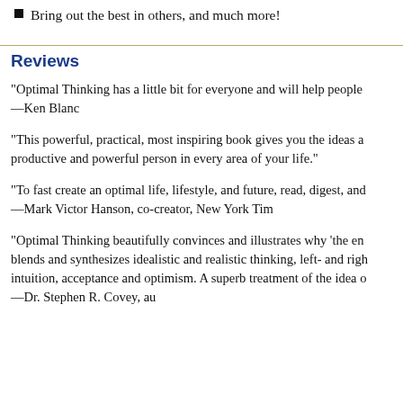Bring out the best in others, and much more!
Reviews
"Optimal Thinking has a little bit for everyone and will help people —Ken Blanc
"This powerful, practical, most inspiring book gives you the ideas a... productive and powerful person in every area of your life."
"To fast create an optimal life, lifestyle, and future, read, digest, and... —Mark Victor Hanson, co-creator, New York Tim
"Optimal Thinking beautifully convinces and illustrates why 'the en... blends and synthesizes idealistic and realistic thinking, left- and righ... intuition, acceptance and optimism. A superb treatment of the idea o... —Dr. Stephen R. Covey, au